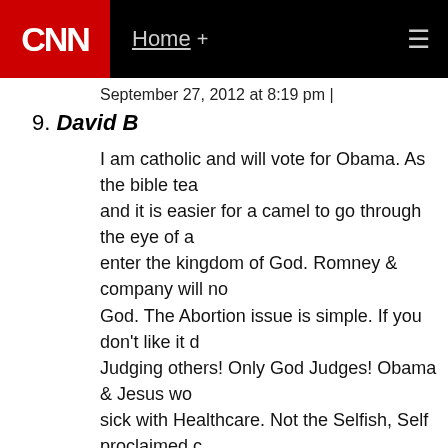CNN | Home +
September 27, 2012 at 8:19 pm |
9. David B
I am catholic and will vote for Obama. As the bible tea... and it is easier for a camel to go through the eye of a ... enter the kingdom of God. Romney & company will no... God. The Abortion issue is simple. If you don't like it d... Judging others! Only God Judges! Obama & Jesus wo... sick with Healthcare. Not the Selfish, Self proclaimed c... do evil deeds. Go OBAMA!
September 27, 2012 at 8:14 pm |
Polar Bear
Uh, Obama's not poor and Obamacare will not d... And as far as abortion, judge harshly. God judge... supposed to judge others behavior.
September 27, 2012 at 8:26 pm |